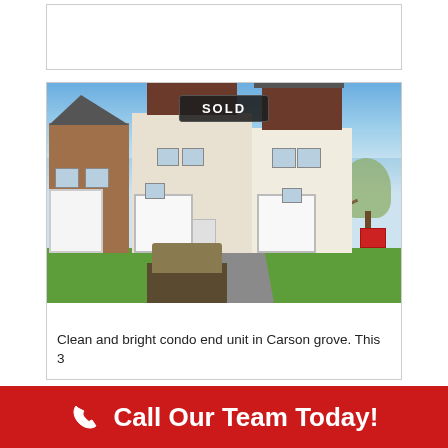[Figure (photo): Top white card placeholder area]
[Figure (photo): Exterior photo of a sold condo townhouse in Carson Grove. Multi-unit townhome with brick and siding exterior, white garage doors, brown upper roofing sections, blue sky background, green grass and driveway visible. A red realty sign is visible on the right side. A 'SOLD' badge overlays the top center of the image.]
Clean and bright condo end unit in Carson grove. This 3
Call Our Team Today!